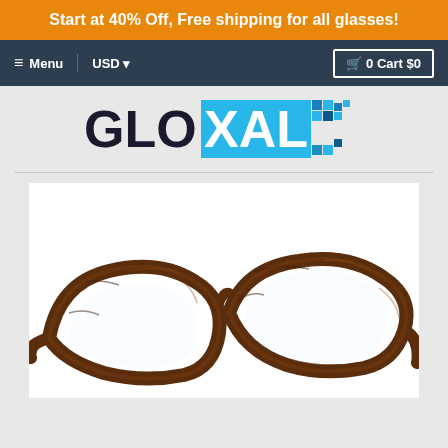Start at 40% Off, Free shipping for all glasses!
Menu  USD  0 Cart $0
[Figure (logo): Gloval eyeglasses brand logo with blue pixel-style branding]
[Figure (photo): Brown tortoiseshell cat-eye eyeglass frames displayed at an angle on white background]